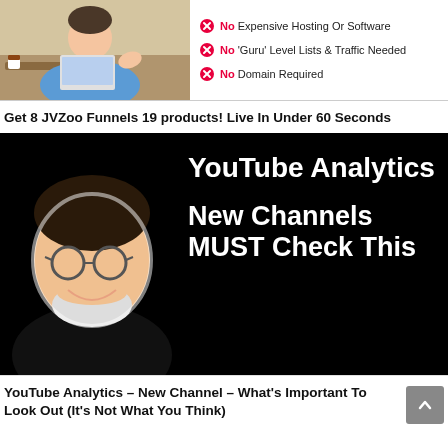[Figure (photo): Person sitting at laptop, gesturing with hands, casual setting]
No Expensive Hosting Or Software
No 'Guru' Level Lists & Traffic Needed
No Domain Required
Get 8 JVZoo Funnels 19 products! Live In Under 60 Seconds
[Figure (screenshot): YouTube thumbnail with man smiling, text: YouTube Analytics New Channels MUST Check This]
YouTube Analytics – New Channel – What's Important To Look Out (It's Not What You Think)